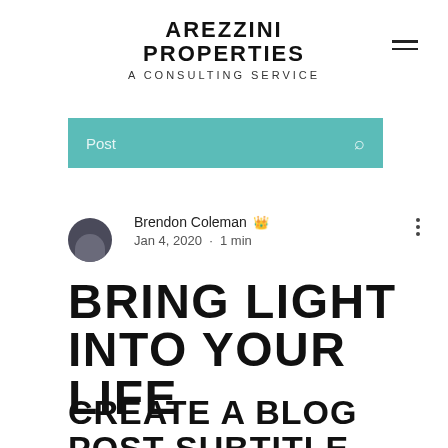AREZZINI PROPERTIES
A CONSULTING SERVICE
[Figure (other): Teal search bar with 'Post' placeholder text and magnifying glass icon]
[Figure (photo): Circular author avatar photo of Brendon Coleman]
Brendon Coleman Admin
Jan 4, 2020 · 1 min
BRING LIGHT INTO YOUR LIFE
CREATE A BLOG POST SUBTITLE THAT